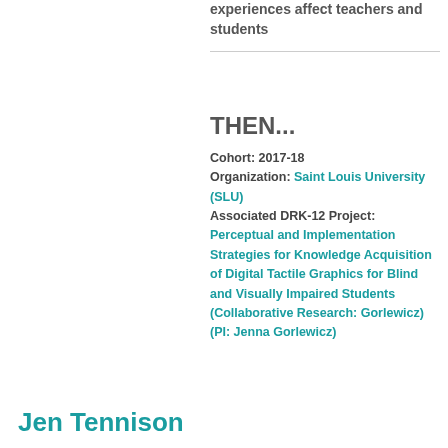experiences affect teachers and students
THEN...
Cohort: 2017-18
Organization: Saint Louis University (SLU)
Associated DRK-12 Project: Perceptual and Implementation Strategies for Knowledge Acquisition of Digital Tactile Graphics for Blind and Visually Impaired Students (Collaborative Research: Gorlewicz) (PI: Jenna Gorlewicz)
Jen Tennison